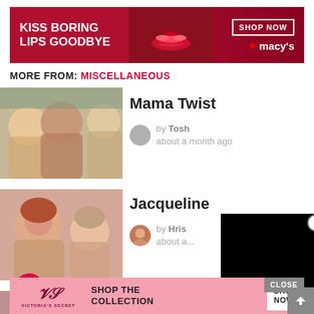[Figure (photo): Macy's advertisement banner: red background with text 'KISS BORING LIPS GOODBYE', red lips photo in center, 'SHOP NOW' button and Macy's star logo on right]
MORE FROM: MISCELLANEOUS
[Figure (photo): Thumbnail photo of three smiling women]
Mama Twist
by Tosh
about a month ago
[Figure (photo): Thumbnail photo of two smiling women (mother and daughter)]
Jacqueline
by Hris
about a...
[Figure (photo): Black video overlay popup with close X button]
[Figure (photo): Thumbnail photo of young woman with glasses]
Irina Dreyt
by Ina
about a month ago
[Figure (photo): Victoria's Secret advertisement banner at bottom: pink background with VS logo, 'SHOP THE COLLECTION' text, 'SHOP NOW' button]
CLOSE